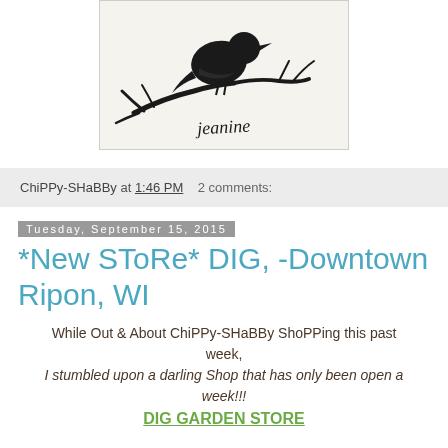[Figure (illustration): Black silhouette of a bird (crow/raven) perched on a bare branch, with a cursive signature reading 'jeanine' below, on a light beige/cream background with a border.]
ChiPPy-SHaBBy at 1:46 PM   2 comments:
Tuesday, September 15, 2015
*New SToRe* DIG, -Downtown Ripon, WI
While Out & About ChiPPy-SHaBBy ShoPPing this past week,
I stumbled upon a darling Shop that has only been open a week!!!
DIG GARDEN STORE